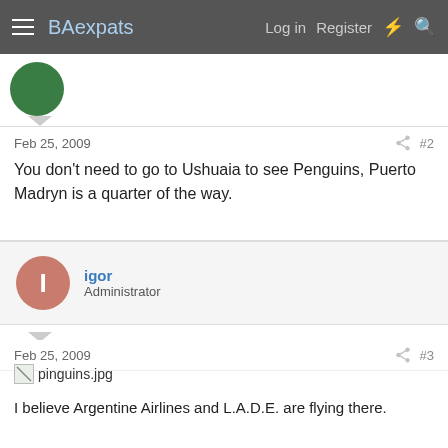BAexpats — Log in  Register
Feb 25, 2009  #2
You don't need to go to Ushuaia to see Penguins, Puerto Madryn is a quarter of the way.
igor
Administrator
Feb 25, 2009  #3
[Figure (photo): Broken image placeholder labeled pinguins.jpg]
I believe Argentine Airlines and L.A.D.E. are flying there.

Check out http://www.despegar.com.ar

Ticket prices are likely to be higher for non residents